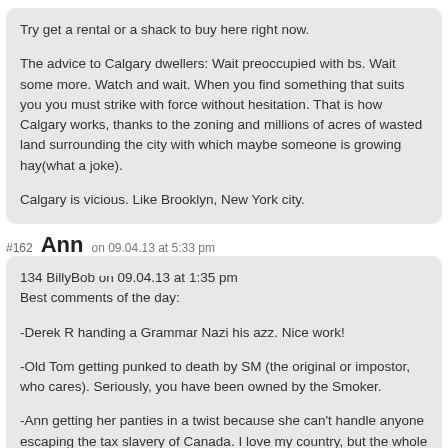Try get a rental or a shack to buy here right now.

The advice to Calgary dwellers: Wait preoccupied with bs. Wait some more. Watch and wait. When you find something that suits you you must strike with force without hesitation. That is how Calgary works, thanks to the zoning and millions of acres of wasted land surrounding the city with which maybe someone is growing hay(what a joke).

Calgary is vicious. Like Brooklyn, New York city.
#162 Ann on 09.04.13 at 5:33 pm
134 BillyBob on 09.04.13 at 1:35 pm
Best comments of the day:

-Derek R handing a Grammar Nazi his azz. Nice work!

-Old Tom getting punked to death by SM (the original or impostor, who cares). Seriously, you have been owned by the Smoker.

-Ann getting her panties in a twist because she can't handle anyone escaping the tax slavery of Canada. I love my country, but the whole place